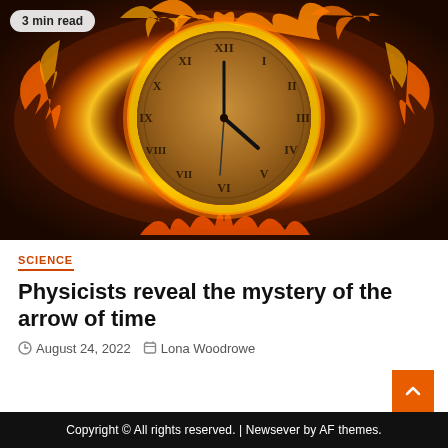[Figure (photo): A glowing clock face with Roman numerals surrounded by dramatic orange and red flames against a dark background, with a '3 min read' badge in the top left corner.]
SCIENCE
Physicists reveal the mystery of the arrow of time
August 24, 2022   Lona Woodrowe
Copyright © All rights reserved. | Newsever by AF themes.